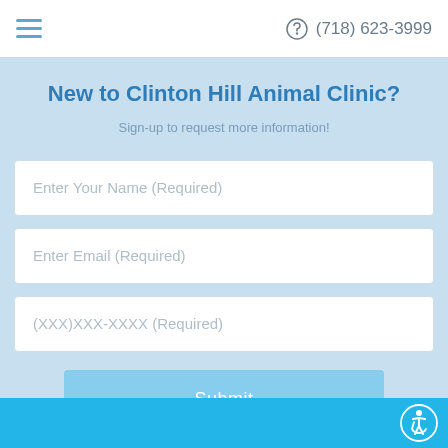(718) 623-3999
New to Clinton Hill Animal Clinic?
Sign-up to request more information!
Enter Your Name (Required)
Enter Email (Required)
(XXX)XXX-XXXX (Required)
Submit
[Figure (illustration): Accessibility icon - wheelchair user symbol in white circle on blue footer bar]